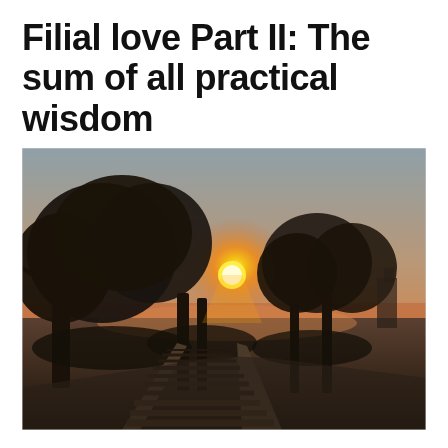Filial love Part II: The sum of all practical wisdom
[Figure (photo): Outdoor sunset or sunrise scene photographed from a train, showing railway tracks receding into the distance on the right, silhouettes of large trees in the middle ground, a bright orange-golden sun low on the horizon glowing through the tree branches, and a hazy sky transitioning from warm orange near the horizon to grey-blue above. The foreground includes railway sleepers and gravel ballast.]